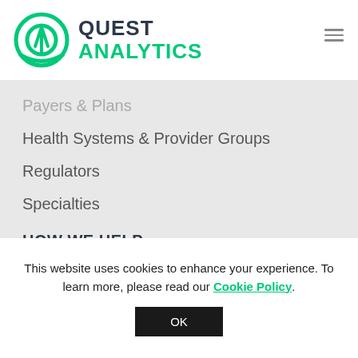[Figure (logo): Quest Analytics logo with circular green icon and text QUEST ANALYTICS]
Payers & Plans (partially visible)
Health Systems & Provider Groups
Regulators
Specialties
HOW WE HELP
Quest Enterprise Services (QES)
Quest Analytics Suite (QAS)
Consulting Services
This website uses cookies to enhance your experience. To learn more, please read our Cookie Policy.